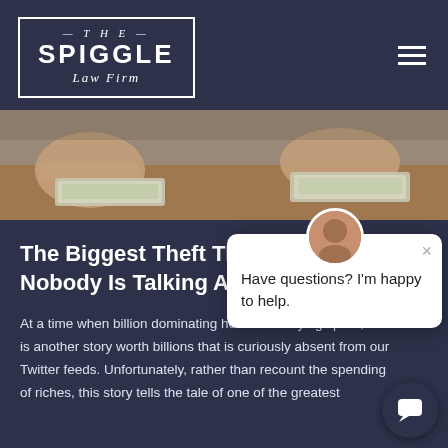THE SPIGGLE Law Firm
[Figure (photo): Hands exchanging US dollar bills on a wooden surface - money/theft themed photo]
The Biggest Theft That Nobody Is Talking About
At a time when billion dominating headlines buying spree, there is another story worth billions that is curiously absent from our Twitter feeds. Unfortunately, rather than recount the spending of riches, this story tells the tale of one of the greatest